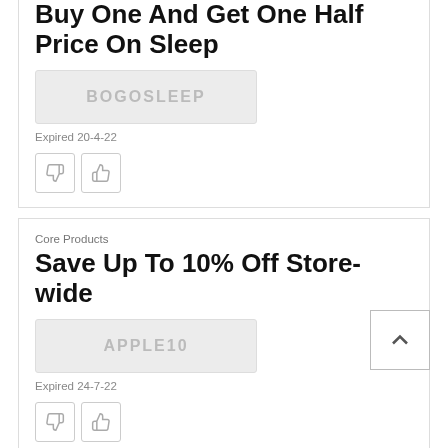Buy One And Get One Half Price On Sleep
BOGOSLEEP
Expired 20-4-22
Core Products
Save Up To 10% Off Store-wide
APPLE10
Expired 24-7-22
Core Products
Shop And Save